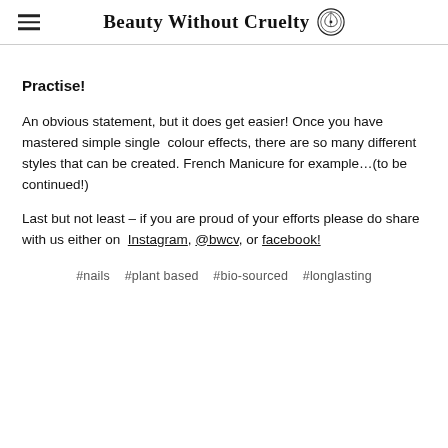Beauty Without Cruelty
Practise!
An obvious statement, but it does get easier! Once you have mastered simple single  colour effects, there are so many different styles that can be created. French Manicure for example…(to be continued!)
Last but not least – if you are proud of your efforts please do share with us either on  Instagram, @bwcv, or facebook!
#nails   #plant based   #bio-sourced   #longlasting